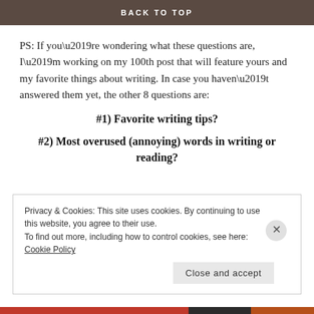BACK TO TOP
PS: If you’re wondering what these questions are, I’m working on my 100th post that will feature yours and my favorite things about writing. In case you haven’t answered them yet, the other 8 questions are:
#1) Favorite writing tips?
#2) Most overused (annoying) words in writing or reading?
Privacy & Cookies: This site uses cookies. By continuing to use this website, you agree to their use.
To find out more, including how to control cookies, see here: Cookie Policy
Close and accept